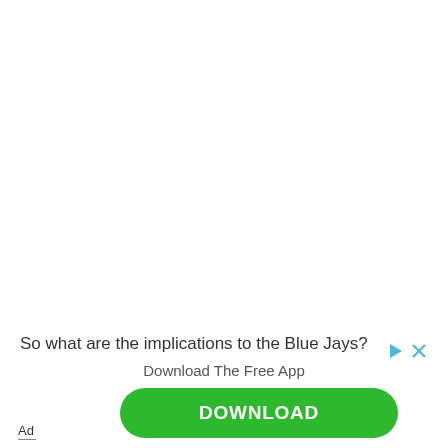So what are the implications to the Blue Jays?
Download The Free App
DOWNLOAD
Ad